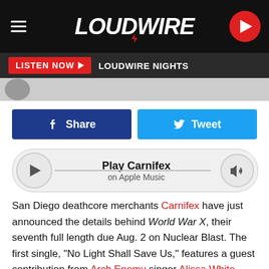LOUDWIRE
LISTEN NOW ▶  LOUDWIRE NIGHTS
[Figure (screenshot): Facebook Share button (dark blue) and Twitter Tweet button (light blue) side by side]
[Figure (other): Play Carnifex on Apple Music player widget with play button on left and volume icon on right]
San Diego deathcore merchants Carnifex have just announced the details behind World War X, their seventh full length due Aug. 2 on Nuclear Blast. The first single, "No Light Shall Save Us," features a guest contribution from Arch Enemy singer Alissa White-Gluz.
The track is a hellish dose of Carnifex's signature crunching, heaving heaviness, accented with melodic flourishes that fuel the doom-laden atmosphere.